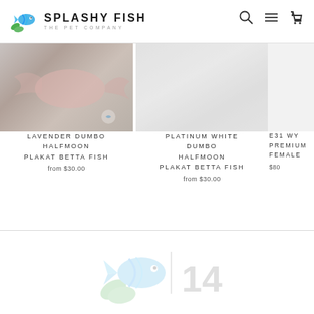SPLASHY FISH — THE PET COMPANY
[Figure (photo): Product photo of Lavender Dumbo Halfmoon Plakat Betta Fish — fish with pale pinkish fins against gray background]
LAVENDER DUMBO HALFMOON PLAKAT BETTA FISH
from $30.00
[Figure (photo): Product photo of Platinum White Dumbo Halfmoon Plakat Betta Fish — mostly blank/white image]
PLATINUM WHITE DUMBO HALFMOON PLAKAT BETTA FISH
from $30.00
[Figure (photo): Partial product image of E31 WY Premium Female betta fish, cropped]
E31 WY
PREMIUM
FEMALE
$80
[Figure (logo): Splashy Fish logo watermark at bottom with number 14]